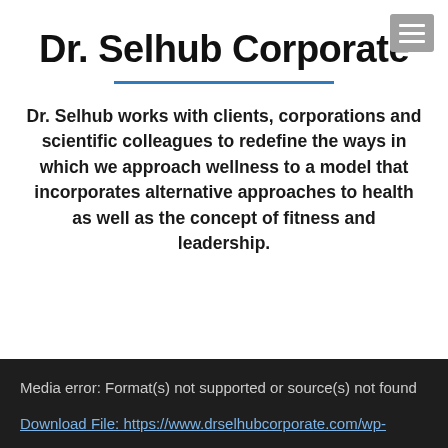Dr. Selhub Corporate
Dr. Selhub works with clients, corporations and scientific colleagues to redefine the ways in which we approach wellness to a model that incorporates alternative approaches to health as well as the concept of fitness and leadership.
Media error: Format(s) not supported or source(s) not found
Download File: https://www.drselhubcorporate.com/wp-